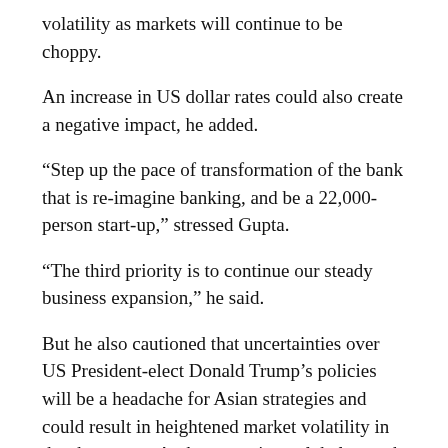volatility as markets will continue to be choppy.
An increase in US dollar rates could also create a negative impact, he added.
“Step up the pace of transformation of the bank that is re-imagine banking, and be a 22,000-person start-up,” stressed Gupta.
“The third priority is to continue our steady business expansion,” he said.
But he also cautioned that uncertainties over US President-elect Donald Trump’s policies will be a headache for Asian strategies and could result in heightened market volatility in the short-term. At the same time, global growth is expected to remain subdued, said Gupta.